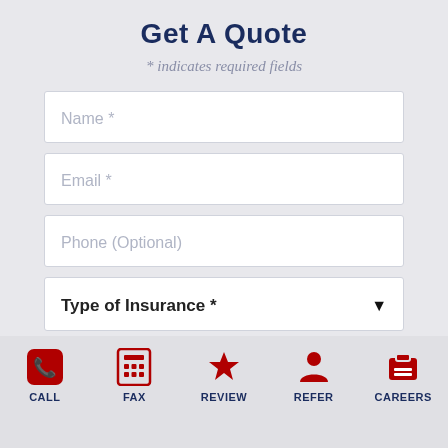Get A Quote
* indicates required fields
Name *
Email *
Phone (Optional)
Type of Insurance *
CALL   FAX   REVIEW   REFER   CAREERS